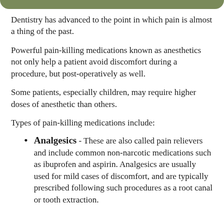Dentistry has advanced to the point in which pain is almost a thing of the past.
Powerful pain-killing medications known as anesthetics not only help a patient avoid discomfort during a procedure, but post-operatively as well.
Some patients, especially children, may require higher doses of anesthetic than others.
Types of pain-killing medications include:
Analgesics - These are also called pain relievers and include common non-narcotic medications such as ibuprofen and aspirin. Analgesics are usually used for mild cases of discomfort, and are typically prescribed following such procedures as a root canal or tooth extraction.